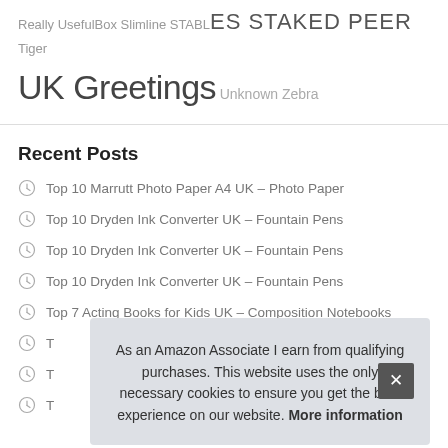Really UsefulBox Slimline STABLES STAKED PEER Tiger UK Greetings Unknown Zebra
Recent Posts
Top 10 Marrutt Photo Paper A4 UK – Photo Paper
Top 10 Dryden Ink Converter UK – Fountain Pens
Top 10 Dryden Ink Converter UK – Fountain Pens
Top 10 Dryden Ink Converter UK – Fountain Pens
Top 7 Acting Books for Kids UK – Composition Notebooks
T
T
T
As an Amazon Associate I earn from qualifying purchases. This website uses the only necessary cookies to ensure you get the best experience on our website. More information